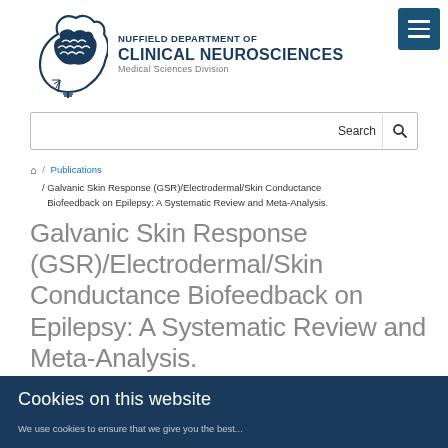[Figure (logo): Nuffield Department of Clinical Neurosciences logo with brain in head silhouette and department name text]
Search
/ Publications / Galvanic Skin Response (GSR)/Electrodermal/Skin Conductance Biofeedback on Epilepsy: A Systematic Review and Meta-Analysis.
Galvanic Skin Response (GSR)/Electrodermal/Skin Conductance Biofeedback on Epilepsy: A Systematic Review and Meta-Analysis.
Cookies on this website